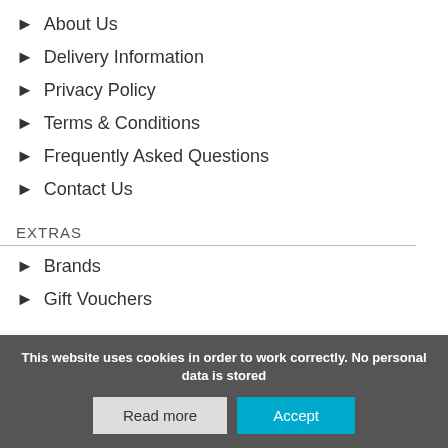About Us
Delivery Information
Privacy Policy
Terms & Conditions
Frequently Asked Questions
Contact Us
EXTRAS
Brands
Gift Vouchers
This website uses cookies in order to work correctly. No personal data is stored
Read more
Accept